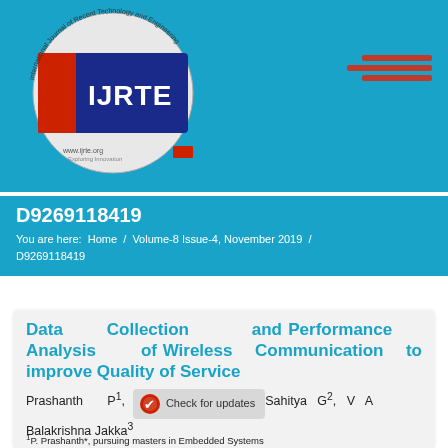[Figure (logo): IJRTE journal logo - circular logo with text International Journal of Recent Technology and Engineering, blue and red colors]
D9269118419
You are here: Home / Volume-8 Issue-4, November 2019 / D9269118419
Data Collection and Performance Analysis of Wireless Communication to improve Quality of Service
Prashanth P¹, Sahitya G², V A Balakrishna Jakka³
¹P. Prashanth*, pursuing masters in Embedded Systems